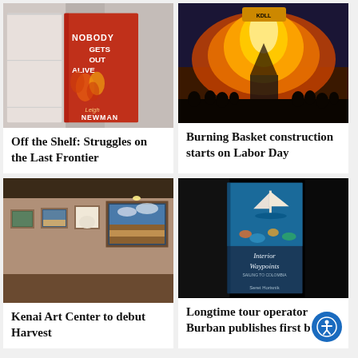[Figure (photo): Book cover of 'Nobody Gets Out Alive' by Leigh Newman on a table]
Off the Shelf: Struggles on the Last Frontier
[Figure (photo): Large fire/burning basket at night with crowd silhouettes]
Burning Basket construction starts on Labor Day
[Figure (photo): Art gallery interior showing landscape paintings on wall]
Kenai Art Center to debut Harvest
[Figure (photo): Book cover of 'Interior Waypoints' by Seret Horisnik on black background]
Longtime tour operator Burban publishes first b